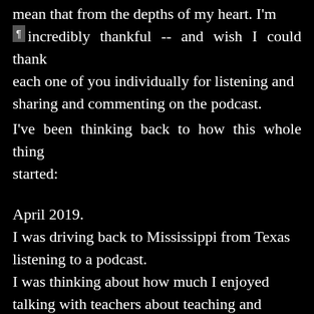mean that from the depths of my heart. I'm incredibly thankful -- and wish I could thank each one of you individually for listening and sharing and commenting on the podcast.
I've been thinking back to how this whole thing started:
April 2019. I was driving back to Mississippi from Texas listening to a podcast. I was thinking about how much I enjoyed talking with teachers about teaching and